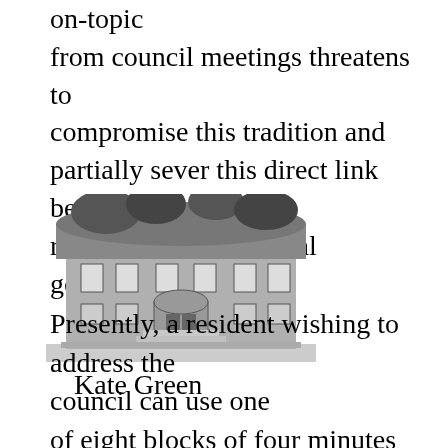on-topic from council meetings threatens to compromise this tradition and partially sever this direct link between residents and their local government.
[Figure (illustration): Black and white illustration of a building, appearing to be a town hall or civic building with architectural details]
Kate Green
Presently, a resident wishing to address the council can use one of eight blocks of four minutes each at every meeting in which to